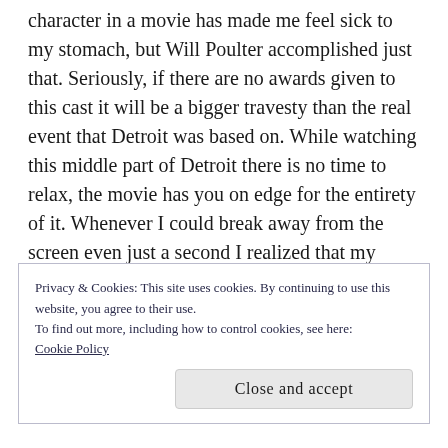character in a movie has made me feel sick to my stomach, but Will Poulter accomplished just that. Seriously, if there are no awards given to this cast it will be a bigger travesty than the real event that Detroit was based on. While watching this middle part of Detroit there is no time to relax, the movie has you on edge for the entirety of it. Whenever I could break away from the screen even just a second I realized that my heart was going a mile a minute. A movie hasn't gotten that real of a reaction out of me since The Witch; and that move was explicitly a horror film.
Privacy & Cookies: This site uses cookies. By continuing to use this website, you agree to their use.
To find out more, including how to control cookies, see here:
Cookie Policy
Close and accept